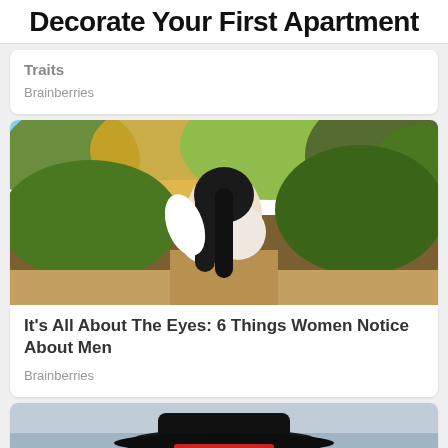Decorate Your First Apartment
Traits
Brainberries
[Figure (photo): Woman with long dark hair in white top surrounded by autumn trees and green foliage outdoors]
It's All About The Eyes: 6 Things Women Notice About Men
Brainberries
[Figure (photo): Person wearing a black cowboy hat near water, with a red CLOSE button overlay]